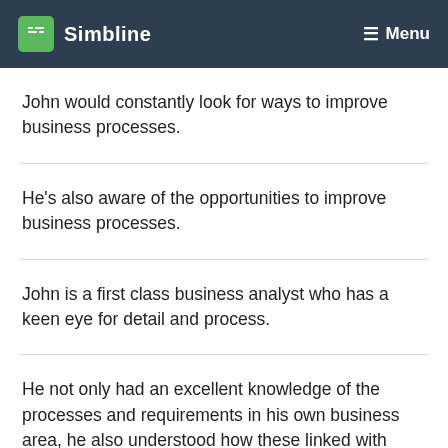Simbline  Menu
John would constantly look for ways to improve business processes.
He's also aware of the opportunities to improve business processes.
John is a first class business analyst who has a keen eye for detail and process.
He not only had an excellent knowledge of the processes and requirements in his own business area, he also understood how these linked with processes and requirements from other business units.
His insights into business and internal processes goes beyond